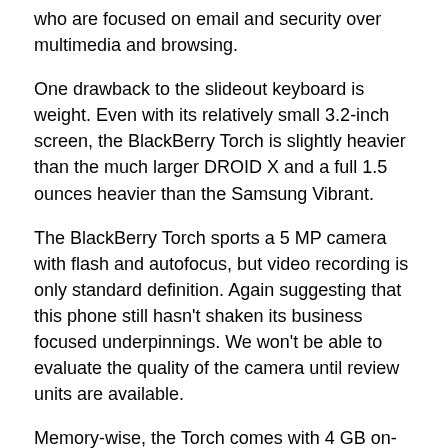who are focused on email and security over multimedia and browsing.
One drawback to the slideout keyboard is weight. Even with its relatively small 3.2-inch screen, the BlackBerry Torch is slightly heavier than the much larger DROID X and a full 1.5 ounces heavier than the Samsung Vibrant.
The BlackBerry Torch sports a 5 MP camera with flash and autofocus, but video recording is only standard definition. Again suggesting that this phone still hasn't shaken its business focused underpinnings. We won't be able to evaluate the quality of the camera until review units are available.
Memory-wise, the Torch comes with 4 GB on-board and will support up to a 32 GB microSD card. This should be plenty for most folks, but is still less than the 8-16 GB of on-board memory offered in the DROID X and Samsung Vibrant, respectively.